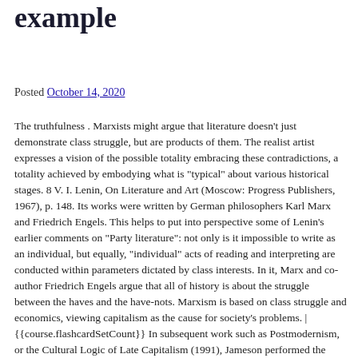example
Posted October 14, 2020
The truthfulness . Marxists might argue that literature doesn't just demonstrate class struggle, but are products of them. The realist artist expresses a vision of the possible totality embracing these contradictions, a totality achieved by embodying what is "typical" about various historical stages. 8 V. I. Lenin, On Literature and Art (Moscow: Progress Publishers, 1967), p. 148. Its works were written by German philosophers Karl Marx and Friedrich Engels. This helps to put into perspective some of Lenin's earlier comments on "Party literature": not only is it impossible to write as an individual, but equally, "individual" acts of reading and interpreting are conducted within parameters dictated by class interests. In it, Marx and co-author Friedrich Engels argue that all of history is about the struggle between the haves and the have-nots. Marxism is based on class struggle and economics, viewing capitalism as the cause for society's problems. | {{course.flashcardSetCount}} In subsequent work such as Postmodernism, or the Cultural Logic of Late Capitalism (1991), Jameson performed the valuable task of extending Marx's insights into the central role of postmodernism in determining the very